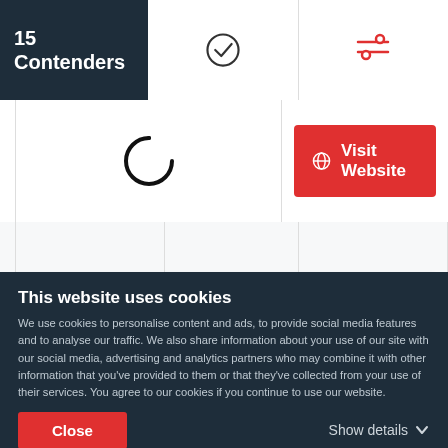15 Contenders
[Figure (illustration): Checkmark circle icon in dark outline style]
[Figure (illustration): Filter/settings sliders icon in red color, with red underline indicating active tab]
[Figure (logo): Capterra stylized C logo in dark outline]
Visit Website
[Figure (logo): PlayBig Design logo - 'play' in grey, 'Big' in red bold text]
PlayBig Design
Design Services
$1,000+
$100 - $149 / hr
This website uses cookies
We use cookies to personalise content and ads, to provide social media features and to analyse our traffic. We also share information about your use of our site with our social media, advertising and analytics partners who may combine it with other information that you've provided to them or that they've collected from your use of their services. You agree to our cookies if you continue to use our website.
Close
Show details